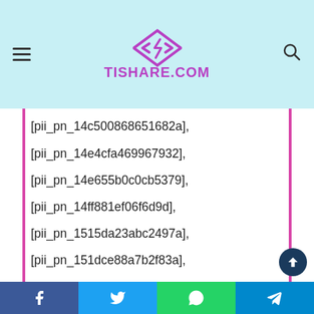TISHARE.COM
[pii_pn_14c500868651682a],
[pii_pn_14e4cfa469967932],
[pii_pn_14e655b0c0cb5379],
[pii_pn_14ff881ef06f6d9d],
[pii_pn_1515da23abc2497a],
[pii_pn_151dce88a7b2f83a],
[pii_pn_1526583f5e11b125],
[pii_pn_1528ba038239229d],
[pii_pn_154bea6225daea76],
[pii_pn_154f37712b1745e0],
[pii_pn_15608a3ca5d8a63f],
[pii_pn_15a7e598bd363e64],
[pii_pn_15b4d1ff3180b33b],